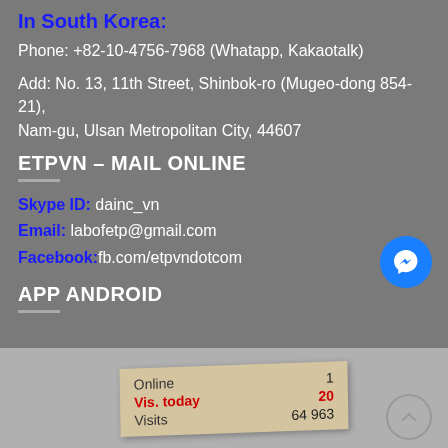In South Korea:
Phone: +82-10-4756-7968 (Whatapp, Kakaotalk)
Add: No. 13, 11th Street, Shinbok-ro (Mugeo-dong 854-21), Nam-gu, Ulsan Metropolitan City, 44607
ETPVN – MAIL ONLINE
Skype ID: dainc_vn
Email: labofetp@gmail.com
Facebook: fb.com/etpvndotcom
APP ANDROID
[Figure (screenshot): Visitor statistics widget showing Online: 1, Vis. today: 20 (in red), Visits: 64 963]